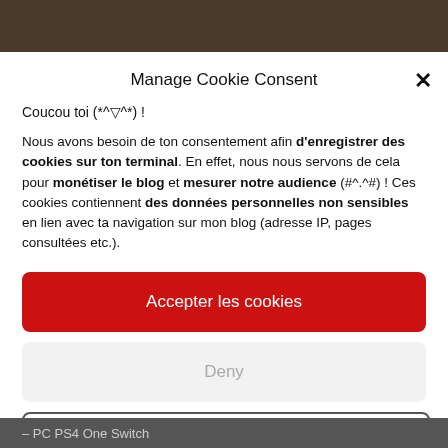[Figure (screenshot): Dark blurred background image at the top of the page]
Manage Cookie Consent
Coucou toi (*^∇^*) !
Nous avons besoin de ton consentement afin d'enregistrer des cookies sur ton terminal. En effet, nous nous servons de cela pour monétiser le blog et mesurer notre audience (#^.^#) ! Ces cookies contiennent des données personnelles non sensibles en lien avec ta navigation sur mon blog (adresse IP, pages consultées etc.).
Accepter les cookies
Deny
Gérer vos préférences
– PC PS4 One Switch